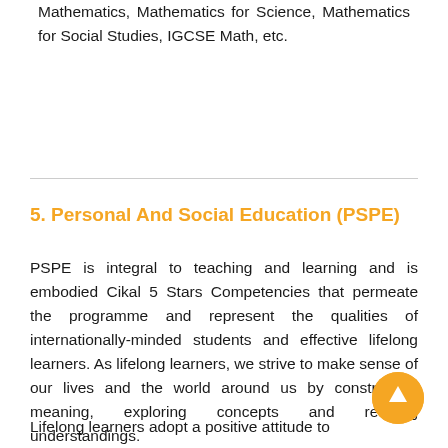Mathematics, Mathematics for Science, Mathematics for Social Studies, IGCSE Math, etc.
5. Personal And Social Education (PSPE)
PSPE is integral to teaching and learning and is embodied Cikal 5 Stars Competencies that permeate the programme and represent the qualities of internationally-minded students and effective lifelong learners. As lifelong learners, we strive to make sense of our lives and the world around us by constructing meaning, exploring concepts and revising understandings.
Lifelong learners adopt a positive attitude to